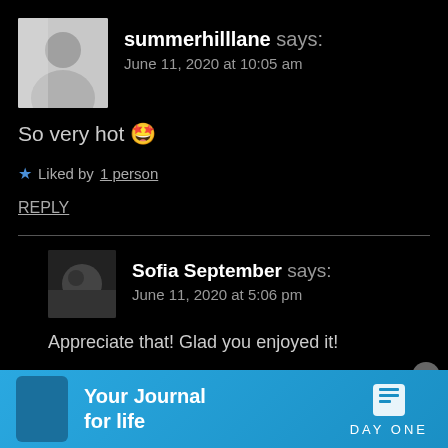summerhilllane says: June 11, 2020 at 10:05 am
So very hot 🤩
★ Liked by 1 person
REPLY
Sofia September says: June 11, 2020 at 5:06 pm
Appreciate that! Glad you enjoyed it!
[Figure (infographic): Day One app advertisement banner: Your Journal for life, DAY ONE]